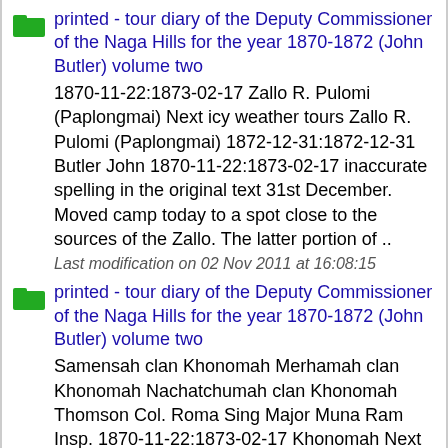printed - tour diary of the Deputy Commissioner of the Naga Hills for the year 1870-1872 (John Butler) volume two
1870-11-22:1873-02-17 Zallo R. Pulomi (Paplongmai) Next icy weather tours Zallo R. Pulomi (Paplongmai) 1872-12-31:1872-12-31 Butler John 1870-11-22:1873-02-17 inaccurate spelling in the original text 31st December. Moved camp today to a spot close to the sources of the Zallo. The latter portion of ..
Last modification on 02 Nov 2011 at 16:08:15
printed - tour diary of the Deputy Commissioner of the Naga Hills for the year 1870-1872 (John Butler) volume two
Samensah clan Khonomah Merhamah clan Khonomah Nachatchumah clan Khonomah Thomson Col. Roma Sing Major Muna Ram Insp. 1870-11-22:1873-02-17 Khonomah Next